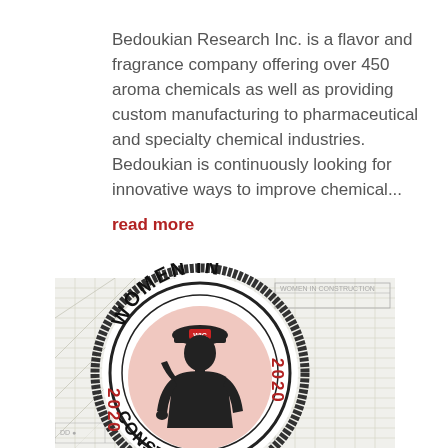Bedoukian Research Inc. is a flavor and fragrance company offering over 450 aroma chemicals as well as providing custom manufacturing to pharmaceutical and specialty chemical industries. Bedoukian is continuously looking for innovative ways to improve chemical...
read more
[Figure (logo): Women In Construction 2020 stamp/badge logo — circular black stamp design with pink background circle, silhouette of a woman in a hard hat labeled WIC, text 'WOMEN IN' at top and 'CONSTRUCTION' at bottom, '2020' on both left and right sides in red, overlaid on faint blueprint/drafting paper background]